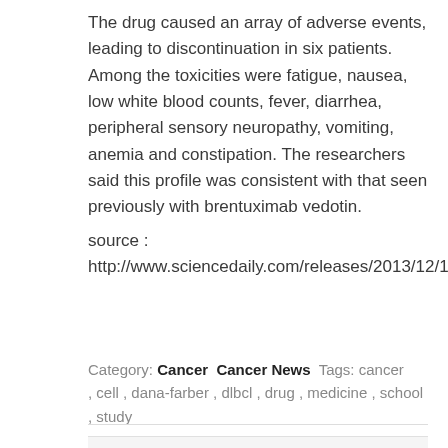The drug caused an array of adverse events, leading to discontinuation in six patients. Among the toxicities were fatigue, nausea, low white blood counts, fever, diarrhea, peripheral sensory neuropathy, vomiting, anemia and constipation. The researchers said this profile was consistent with that seen previously with brentuximab vedotin.
source : http://www.sciencedaily.com/releases/2013/12/131210091130.htm
Category: Cancer  Cancer News  Tags: cancer, cell, dana-farber, dlbcl, drug, medicine, school, study